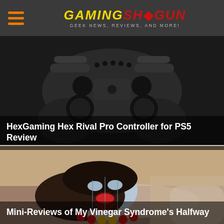GAMING SHOGUN — GEEK NEWS, REVIEWS, AND MORE!
[Figure (photo): Black HexGaming Hex Rival Pro PS5 controller on dark background]
HexGaming Hex Rival Pro Controller for PS5 Review
[Figure (photo): Woman with blue face paint lying on the ground with mouth open, wearing colorful beaded necklace]
Mini-Reviews of My Vinegar Syndrome's Halfway